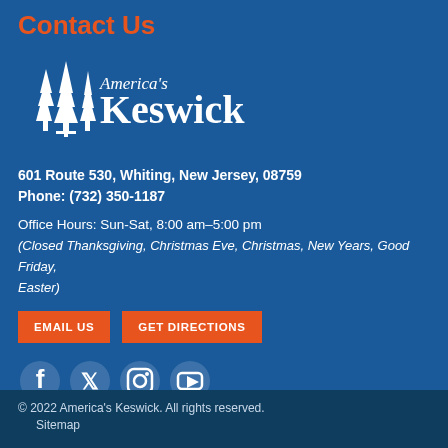Contact Us
[Figure (logo): America's Keswick logo with pine trees and stylized script/serif text]
601 Route 530, Whiting, New Jersey, 08759
Phone: (732) 350-1187
Office Hours: Sun-Sat, 8:00 am–5:00 pm
(Closed Thanksgiving, Christmas Eve, Christmas, New Years, Good Friday, Easter)
EMAIL US   GET DIRECTIONS
[Figure (illustration): Social media icons: Facebook, Twitter, Instagram, YouTube]
America's Keswick is a registered 501(c)(3) non-profit organization.
© 2022 America's Keswick. All rights reserved.
Sitemap